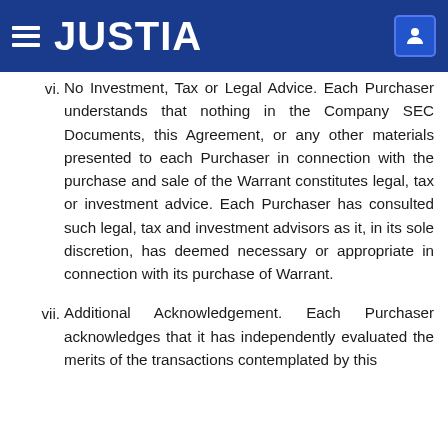JUSTIA
vi. No Investment, Tax or Legal Advice. Each Purchaser understands that nothing in the Company SEC Documents, this Agreement, or any other materials presented to each Purchaser in connection with the purchase and sale of the Warrant constitutes legal, tax or investment advice. Each Purchaser has consulted such legal, tax and investment advisors as it, in its sole discretion, has deemed necessary or appropriate in connection with its purchase of Warrant.
vii. Additional Acknowledgement. Each Purchaser acknowledges that it has independently evaluated the merits of the transactions contemplated by this